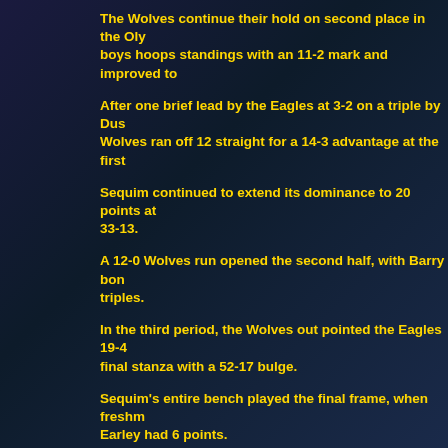The Wolves continue their hold on second place in the Olympic League boys hoops standings with an 11-2 mark and improved to
After one brief lead by the Eagles at 3-2 on a triple by Dus... Wolves ran off 12 straight for a 14-3 advantage at the first
Sequim continued to extend its dominance to 20 points at... 33-13.
A 12-0 Wolves run opened the second half, with Barry bon... triples.
In the third period, the Wolves out pointed the Eagles 19-4... final stanza with a 52-17 bulge.
Sequim's entire bench played the final frame, when freshn... Earley had 6 points.
Erik Christensen paced the Wolves with 9 tallies. Dustin B... Gotchall had 8 points apiece to lead the Eagles.
Klahowya (1-14 overall, 0-13 in Olympic League play) host... Trojans Tuesday.
The Wolves will be visiting Poulsbo Tuesday for a matchu... Kitsap Vikings.
Scoring by Quarters: